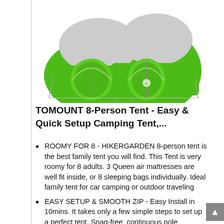[Figure (photo): A green and grey TOMOUNT/HIKERGARDEN 8-person camping tent, shown from a front-side angle on a white background. The tent has two dome-shaped sections covered in bright green fabric with grey mesh/rain fly panels.]
TOMOUNT 8-Person Tent - Easy & Quick Setup Camping Tent,...
ROOMY FOR 8 - HIKERGARDEN 8-person tent is the best family tent you will find. This Tent is very roomy for 8 adults. 3 Queen air mattresses are well fit inside, or 8 sleeping bags individually. Ideal family tent for car camping or outdoor traveling
EASY SETUP & SMOOTH ZIP - Easy Install in 10mins. It takes only a few simple steps to set up a perfect tent. Snag-free, continuous pole